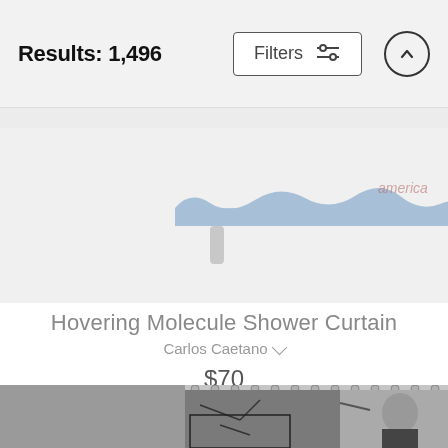Results: 1,496
[Figure (screenshot): Partially visible product image of a blue decorative shelf or tray with wavy edges and small legs, with 'america' watermark visible in corner]
Hovering Molecule Shower Curtain
Carlos Caetano
$70
[Figure (photo): Black and white photograph of a man in a suit pointing at a molecular model structure on a shower curtain]